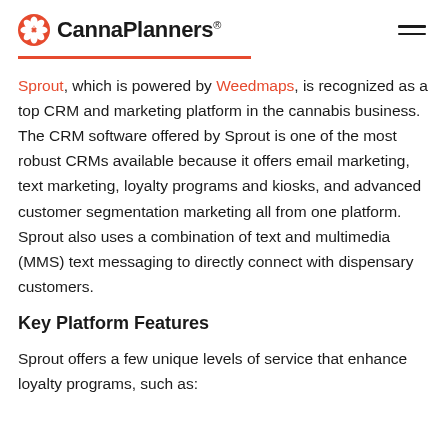CannaPlanners®
Sprout, which is powered by Weedmaps, is recognized as a top CRM and marketing platform in the cannabis business. The CRM software offered by Sprout is one of the most robust CRMs available because it offers email marketing, text marketing, loyalty programs and kiosks, and advanced customer segmentation marketing all from one platform. Sprout also uses a combination of text and multimedia (MMS) text messaging to directly connect with dispensary customers.
Key Platform Features
Sprout offers a few unique levels of service that enhance loyalty programs, such as: